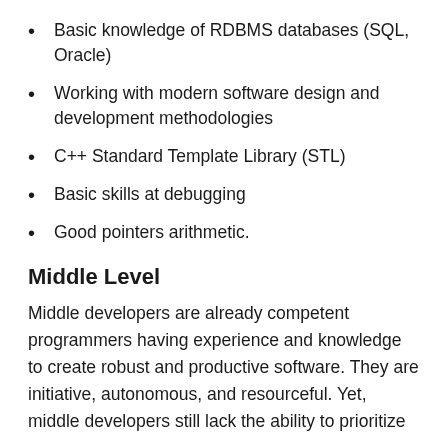Basic knowledge of RDBMS databases (SQL, Oracle)
Working with modern software design and development methodologies
C++ Standard Template Library (STL)
Basic skills at debugging
Good pointers arithmetic.
Middle Level
Middle developers are already competent programmers having experience and knowledge to create robust and productive software. They are initiative, autonomous, and resourceful. Yet, middle developers still lack the ability to prioritize